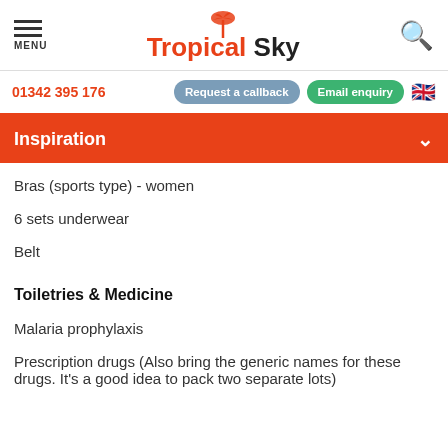Tropical Sky
01342 395 176
Request a callback
Email enquiry
Inspiration
Bras (sports type) - women
6 sets underwear
Belt
Toiletries & Medicine
Malaria prophylaxis
Prescription drugs (Also bring the generic names for these drugs. It's a good idea to pack two separate lots)